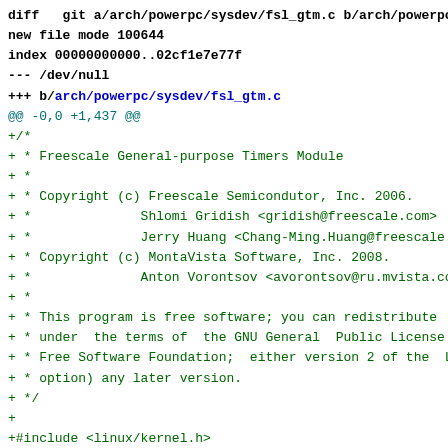diff --git a/arch/powerpc/sysdev/fsl_gtm.c b/arch/powerpc/sys
new file mode 100644
index 00000000000..02cf1e7e77f
--- /dev/null
+++ b/arch/powerpc/sysdev/fsl_gtm.c
@@ -0,0 +1,437 @@
+/*
+ * Freescale General-purpose Timers Module
+ *
+ * Copyright (c) Freescale Semicondutor, Inc. 2006.
+ *              Shlomi Gridish <gridish@freescale.com>
+ *              Jerry Huang <Chang-Ming.Huang@freescale.com
+ * Copyright (c) MontaVista Software, Inc. 2008.
+ *              Anton Vorontsov <avorontsov@ru.mvista.com>
+ *
+ * This program is free software; you can redistribute  it a
+ * under  the terms of  the GNU General  Public License as p
+ * Free Software Foundation;  either version 2 of the  Licen
+ * option) any later version.
+ */
+
+#include <linux/kernel.h>
+#include <linux/err.h>
+#include <linux/errno.h>
+#include <linux/list.h>
+#include <linux/io.h>